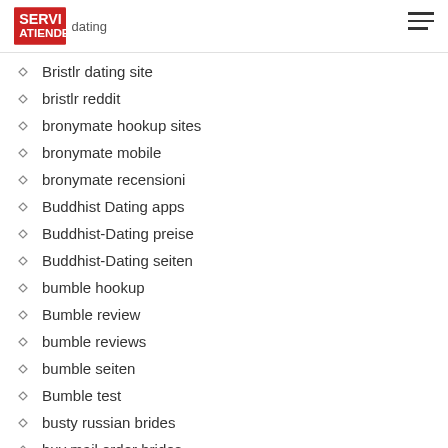dating | Serviatiende
Bristlr dating site
bristlr reddit
bronymate hookup sites
bronymate mobile
bronymate recensioni
Buddhist Dating apps
Buddhist-Dating preise
Buddhist-Dating seiten
bumble hookup
Bumble review
bumble reviews
bumble seiten
Bumble test
busty russian brides
buy mail order brides
buy russian bride